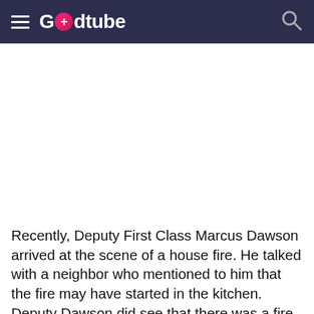Godtube
Recently, Deputy First Class Marcus Dawson arrived at the scene of a house fire. He talked with a neighbor who mentioned to him that the fire may have started in the kitchen. Deputy Dawson did see that there was a fire on the stove in the kitchen and